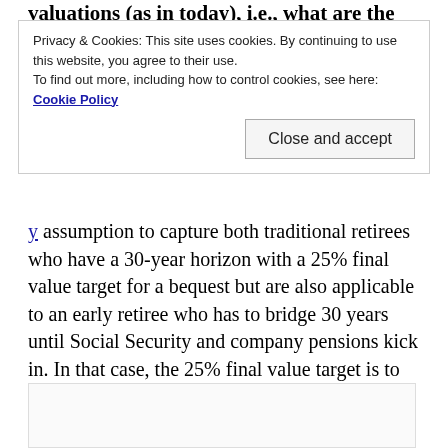valuations (as in today), i.e., what are the SWR stats
Privacy & Cookies: This site uses cookies. By continuing to use this website, you agree to their use.
To find out more, including how to control cookies, see here: Cookie Policy
assumption to capture both traditional retirees who have a 30-year horizon with a 25% final value target for a bequest but are also applicable to an early retiree who has to bridge 30 years until Social Security and company pensions kick in. In that case, the 25% final value target is to supplement the pension and government program.
[Figure (other): Empty/partial content box at bottom of page]